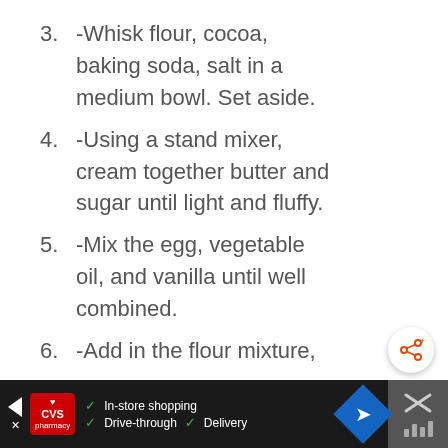3. -Whisk flour, cocoa, baking soda, salt in a medium bowl. Set aside.
4. -Using a stand mixer, cream together butter and sugar until light and fluffy.
5. -Mix the egg, vegetable oil, and vanilla until well combined.
6. -Add in the flour mixture,
[Figure (other): Share button icon — circular white button with orange share/network icon and plus sign]
[Figure (other): CVS Pharmacy advertisement banner at bottom: In-store shopping, Drive-through, Delivery options with navigation arrow icon and close button]